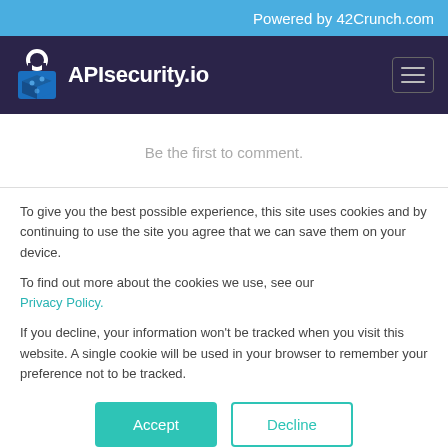Powered by 42Crunch.com
[Figure (logo): APIsecurity.io logo with padlock icon on dark navy background, with hamburger menu icon on right]
Be the first to comment.
To give you the best possible experience, this site uses cookies and by continuing to use the site you agree that we can save them on your device.

To find out more about the cookies we use, see our Privacy Policy.

If you decline, your information won't be tracked when you visit this website. A single cookie will be used in your browser to remember your preference not to be tracked.
Accept   Decline